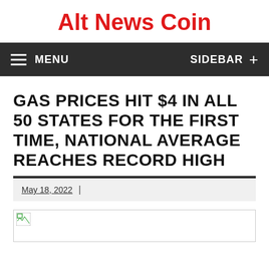Alt News Coin
MENU  SIDEBAR +
GAS PRICES HIT $4 IN ALL 50 STATES FOR THE FIRST TIME, NATIONAL AVERAGE REACHES RECORD HIGH
May 18, 2022
[Figure (photo): Broken image placeholder at top of article]